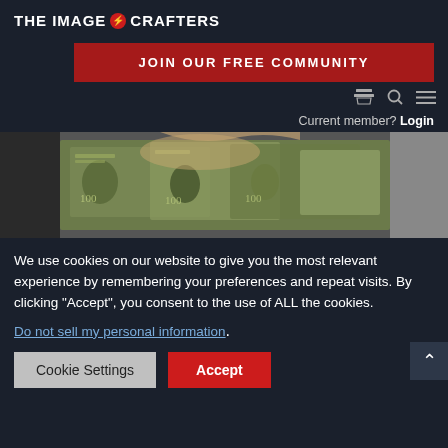THE IMAGE CRAFTERS
JOIN OUR FREE COMMUNITY
[Figure (screenshot): Navigation icons: shopping cart, search, hamburger menu]
Current member? Login
[Figure (photo): Hands holding and fanning out US $100 dollar bills]
We use cookies on our website to give you the most relevant experience by remembering your preferences and repeat visits. By clicking “Accept”, you consent to the use of ALL the cookies.
Do not sell my personal information.
Cookie Settings
Accept